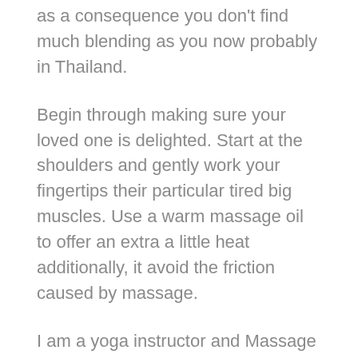as a consequence you don't find much blending as you now probably in Thailand.
Begin through making sure your loved one is delighted. Start at the shoulders and gently work your fingertips their particular tired big muscles. Use a warm massage oil to offer an extra a little heat additionally, it avoid the friction caused by massage.
I am a yoga instructor and Massage Therapist in Redding, CA and i also teach these self awareness and self meditation easy my clients all the time. In fact, this “Hearticle” is an additional yoga for novices article given that the first step up learning beginning yoga is becoming deeply associated with your the way your body is connected in the thoughts. This deeper synergistic link is what most people are searching for in wanting stress